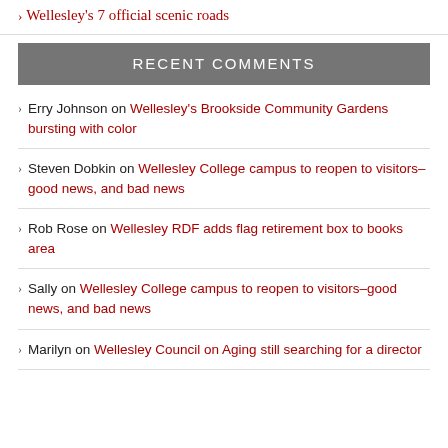Wellesley's 7 official scenic roads
RECENT COMMENTS
Erry Johnson on Wellesley's Brookside Community Gardens bursting with color
Steven Dobkin on Wellesley College campus to reopen to visitors–good news, and bad news
Rob Rose on Wellesley RDF adds flag retirement box to books area
Sally on Wellesley College campus to reopen to visitors–good news, and bad news
Marilyn on Wellesley Council on Aging still searching for a director